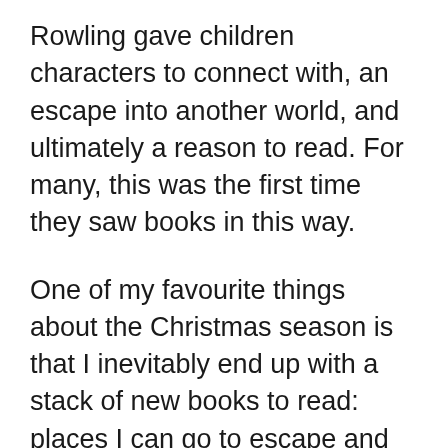Rowling gave children characters to connect with, an escape into another world, and ultimately a reason to read. For many, this was the first time they saw books in this way.
One of my favourite things about the Christmas season is that I inevitably end up with a stack of new books to read: places I can go to escape and rest from our world, characters I can connect with or learn from, a way to lose myself and find myself, too.
Some see a stack of books as a chore; I see them as adventure, opportunity, and solace.